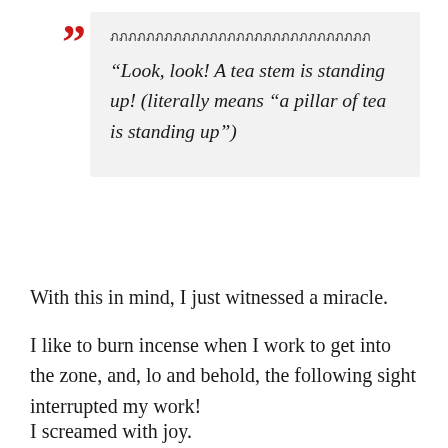ภภภภภภภภภภภภภภภภภภภภภภภภภภภภภ
“Look, look! A tea stem is standing up! (literally means “a pillar of tea is standing up”)
With this in mind, I just witnessed a miracle.
I like to burn incense when I work to get into the zone, and, lo and behold, the following sight interrupted my work!
I screamed with joy.